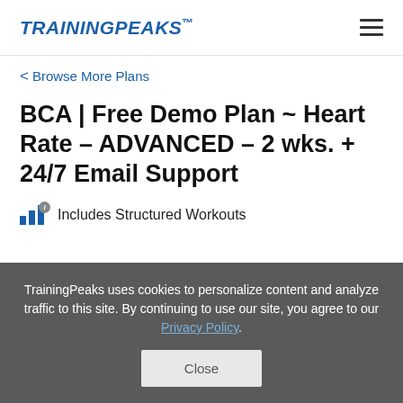TRAININGPEAKS
< Browse More Plans
BCA | Free Demo Plan ~ Heart Rate – ADVANCED – 2 wks. + 24/7 Email Support
Includes Structured Workouts
TrainingPeaks uses cookies to personalize content and analyze traffic to this site. By continuing to use our site, you agree to our Privacy Policy.
Close